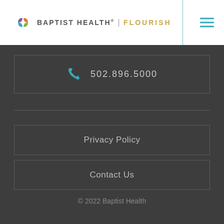[Figure (logo): Baptist Health | Flourish logo with colorful leaf icon and brand name]
502.896.5000
Privacy Policy
Contact Us
© 2022 Baptist Health